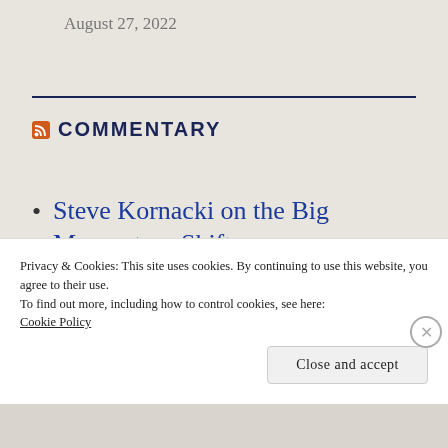August 27, 2022
COMMENTARY
Steve Kornacki on the Big Momentum Shift
Privacy & Cookies: This site uses cookies. By continuing to use this website, you agree to their use.
To find out more, including how to control cookies, see here: Cookie Policy
Close and accept